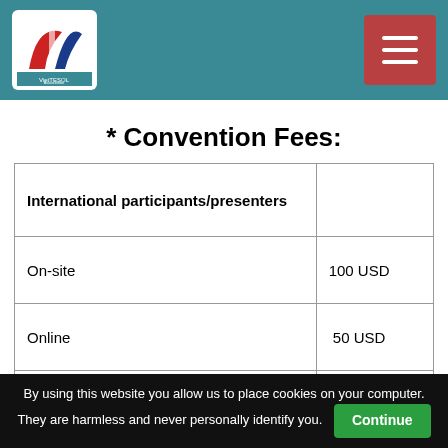VietTESOL Association
* Convention Fees:
|  |  |
| --- | --- |
| International participants/presenters |  |
| On-site | 100 USD |
| Online | 50 USD |
| Vietnamese participants/presenters |  |
| On-site | 1.200.000 VNĐ |
By using this website you allow us to place cookies on your computer. They are harmless and never personally identify you. Continue